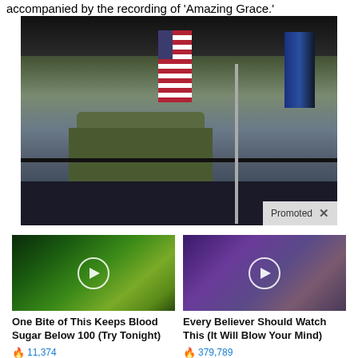accompanied by the recording of 'Amazing Grace.'
[Figure (photo): Honor guard with American flag and blue flag at an outdoor ceremony, with a military vehicle in the background. A 'Promoted' badge with X button appears in the bottom right.]
[Figure (photo): Close-up of green plant/aloe with play button overlay. Ad for 'One Bite of This Keeps Blood Sugar Below 100 (Try Tonight)' with 11,374 views.]
One Bite of This Keeps Blood Sugar Below 100 (Try Tonight)
11,374
[Figure (photo): Group of politicians including a woman in purple jacket with play button overlay. Ad for 'Every Believer Should Watch This (It Will Blow Your Mind)' with 379,789 views.]
Every Believer Should Watch This (It Will Blow Your Mind)
379,789